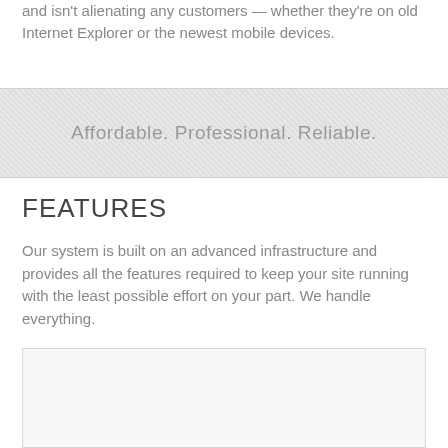and isn't alienating any customers — whether they're on old Internet Explorer or the newest mobile devices.
Affordable. Professional. Reliable.
FEATURES
Our system is built on an advanced infrastructure and provides all the features required to keep your site running with the least possible effort on your part. We handle everything.
[Figure (other): Empty bordered box placeholder]